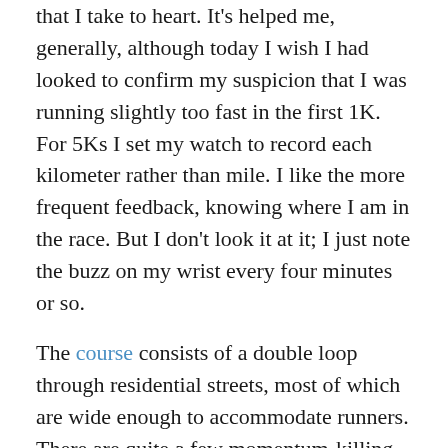that I take to heart. It's helped me, generally, although today I wish I had looked to confirm my suspicion that I was running slightly too fast in the first 1K. For 5Ks I set my watch to record each kilometer rather than mile. I like the more frequent feedback, knowing where I am in the race. But I don't look it at it; I just note the buzz on my wrist every four minutes or so.
The course consists of a double loop through residential streets, most of which are wide enough to accommodate runners. There are quite a few momentum-killing 90 degree turns, but not nearly as many as the Flushing Meadows 5K a few weeks ago featured. The course is totally flat, which makes it a good one to run. But there was wind, unfortunately, along one long stretch of Stewart Avenue, probably totaling a little under 2K of the total 5K. It wasn't terrible, but it was a noticeable, draining force.